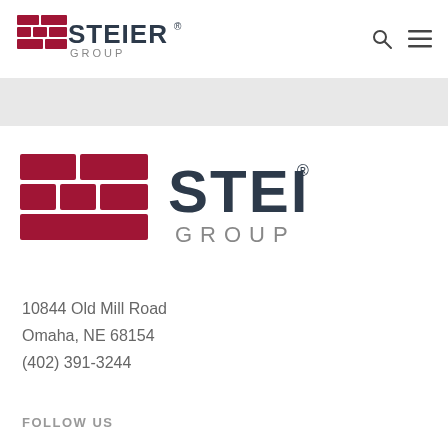[Figure (logo): Steier Group logo in navigation bar — dark red brick icon with STEIER GROUP text in dark slate]
[Figure (logo): Steier Group logo in footer section — larger dark red brick icon with STEIER GROUP text in dark slate]
10844 Old Mill Road
Omaha, NE 68154
(402) 391-3244
FOLLOW US